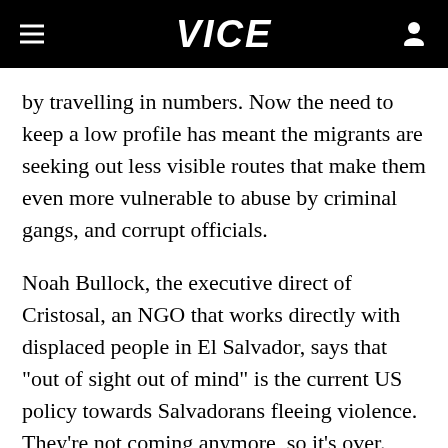VICE
by travelling in numbers. Now the need to keep a low profile has meant the migrants are seeking out less visible routes that make them even more vulnerable to abuse by criminal gangs, and corrupt officials.
Noah Bullock, the executive direct of Cristosal, an NGO that works directly with displaced people in El Salvador, says that "out of sight out of mind" is the current US policy towards Salvadorans fleeing violence. They're not coming anymore, so it's over.